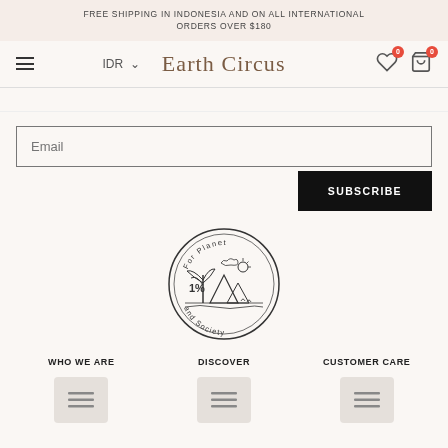FREE SHIPPING IN INDONESIA AND ON ALL INTERNATIONAL ORDERS OVER $180
Earth Circus — IDR | navigation icons
Email
SUBSCRIBE
[Figure (logo): Circular emblem logo with text 'For Planet and Society', featuring a tropical landscape with palm tree, mountains and 1% text]
WHO WE ARE
DISCOVER
CUSTOMER CARE